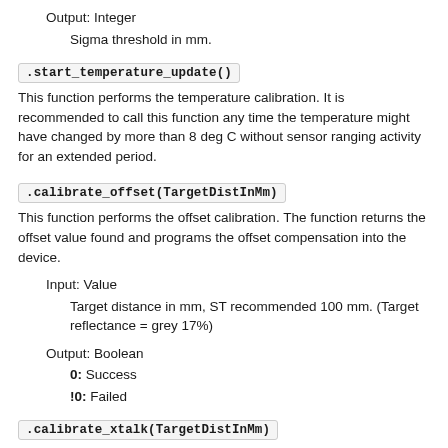Output: Integer
Sigma threshold in mm.
.start_temperature_update()
This function performs the temperature calibration. It is recommended to call this function any time the temperature might have changed by more than 8 deg C without sensor ranging activity for an extended period.
.calibrate_offset(TargetDistInMm)
This function performs the offset calibration. The function returns the offset value found and programs the offset compensation into the device.
Input: Value
Target distance in mm, ST recommended 100 mm. (Target reflectance = grey 17%)
Output: Boolean
0: Success
!0: Failed
.calibrate_xtalk(TargetDistInMm)
This function performs the xtalk calibration. The function returns the xtalk value found and programs the xtalk compensation to the